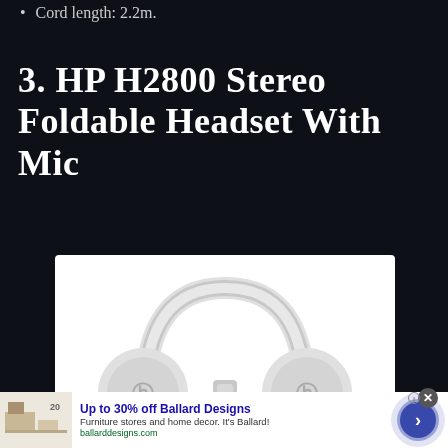Cord length: 2.2m.
3. HP H2800 Stereo Foldable Headset with Mic
[Figure (photo): White HP H2800 stereo headphones shown from the front, displaying the HP logo on each ear cup, on a white background.]
Up to 30% off Ballard Designs
Furniture stores and home decor. It's Ballard!
ballarddesigns.com